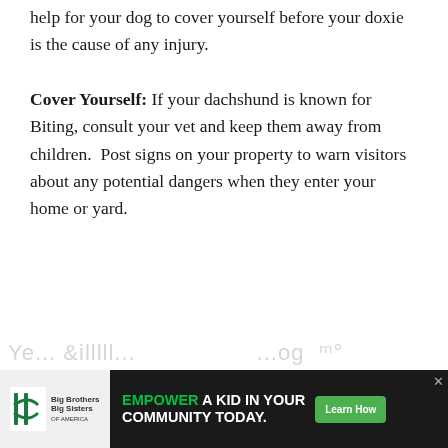help for your dog to cover yourself before your doxie is the cause of any injury.
Cover Yourself: If your dachshund is known for Biting, consult your vet and keep them away from children.  Post signs on your property to warn visitors about any potential dangers when they enter your home or yard.
[Figure (infographic): Advertisement banner: Big Brothers Big Sisters of America logo on left. Main panel reads 'EMPOWER A KID IN YOUR COMMUNITY TODAY.' with a green 'Learn How' button. Close (x) button top-right.]